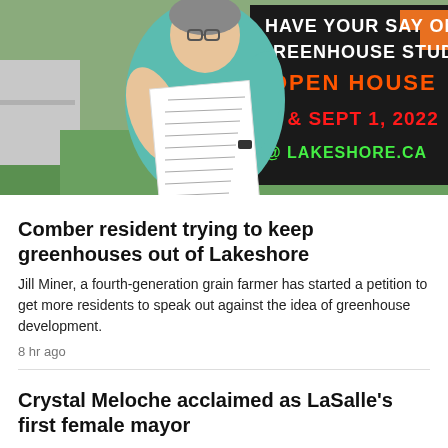[Figure (photo): A person standing outdoors holding a document/petition, with a sign in the background reading 'HAVE YOUR SAY ON GREENHOUSE STUDY OPEN HOUSE 23 & SEPT 1 2022 @ LAKESHORE.CA']
Comber resident trying to keep greenhouses out of Lakeshore
Jill Miner, a fourth-generation grain farmer has started a petition to get more residents to speak out against the idea of greenhouse development.
8 hr ago
Crystal Meloche acclaimed as LaSalle's first female mayor
8 hr ago